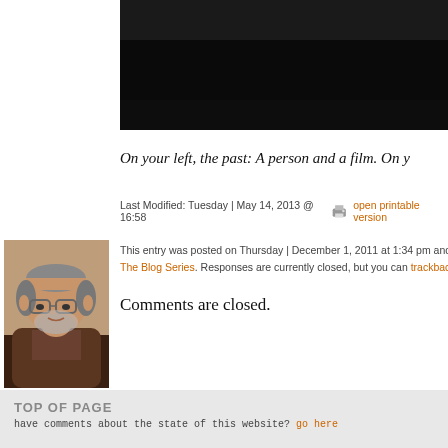[Figure (photo): Dark image strip at top of content area, mostly black/dark background]
On your left, the past: A person and a film. On y
Last Modified: Tuesday | May 14, 2013 @ 16:58  open printable version
This entry was posted on Thursday | December 1, 2011 at 1:34 pm and is file
The Blog Series. Responses are currently closed, but you can trackback from
[Figure (photo): Portrait photo of a middle-aged man with glasses and beard, casual clothing]
Comments are closed.
TOP OF PAGE
have comments about the state of this website? go here